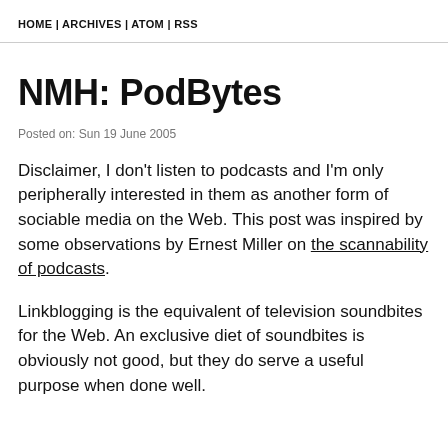HOME | ARCHIVES | ATOM | RSS
NMH: PodBytes
Posted on: Sun 19 June 2005
Disclaimer, I don't listen to podcasts and I'm only peripherally interested in them as another form of sociable media on the Web. This post was inspired by some observations by Ernest Miller on the scannability of podcasts.
Linkblogging is the equivalent of television soundbites for the Web. An exclusive diet of soundbites is obviously not good, but they do serve a useful purpose when done well.